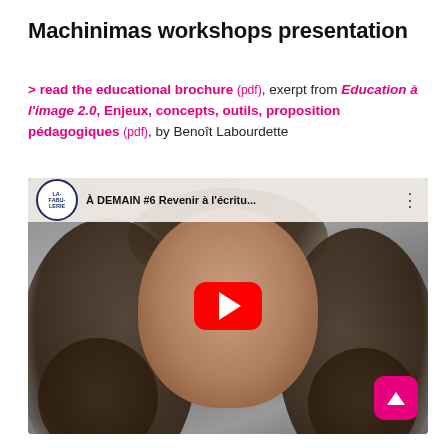Machinimas workshops presentation
> read the educational brochure (pdf), exerpt from Education à l'image 2.0, Enjeux, concepts, outils, proposition pédagogiques (pdf), by Benoît Labourdette
[Figure (screenshot): YouTube video thumbnail showing a woman with curly dark hair, with La Fabulerie channel logo and title 'À DEMAIN #6 Revenir à l'écritu...' in the top bar, a red YouTube play button in the center, and a pink scroll-to-top button in the bottom right corner.]